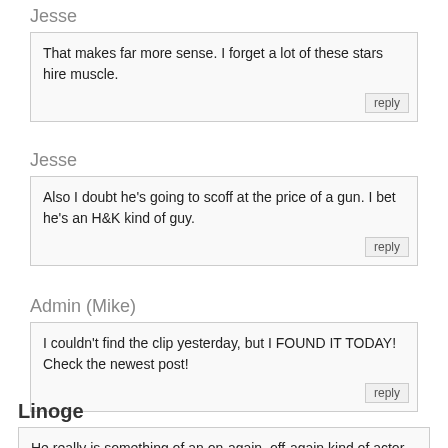Jesse
That makes far more sense. I forget a lot of these stars hire muscle.
Jesse
Also I doubt he's going to scoff at the price of a gun. I bet he's an H&K kind of guy.
Admin (Mike)
I couldn't find the clip yesterday, but I FOUND IT TODAY! Check the newest post!
Linoge
He really is something of an on-again, off-again kind of actor for me – though that has been improving of late – but I have to give him an inordinate amount of credit for having the nerve to say...